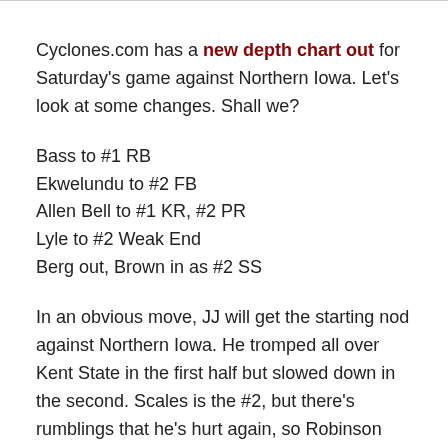Cyclones.com has a new depth chart out for Saturday's game against Northern Iowa. Let's look at some changes. Shall we?
Bass to #1 RB
Ekwelundu to #2 FB
Allen Bell to #1 KR, #2 PR
Lyle to #2 Weak End
Berg out, Brown in as #2 SS
In an obvious move, JJ will get the starting nod against Northern Iowa. He tromped all over Kent State in the first half but slowed down in the second. Scales is the #2, but there's rumblings that he's hurt again, so Robinson may still see carries.